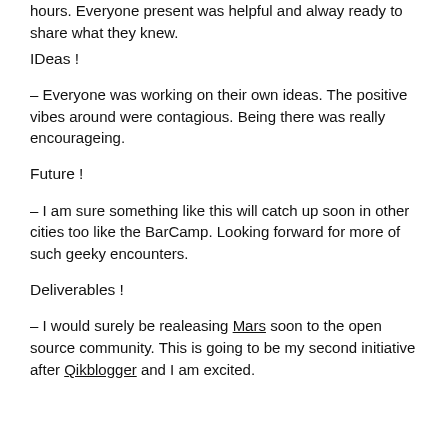hours. Everyone present was helpful and alway ready to share what they knew.
IDeas !
– Everyone was working on their own ideas. The positive vibes around were contagious. Being there was really encourageing.
Future !
– I am sure something like this will catch up soon in other cities too like the BarCamp. Looking forward for more of such geeky encounters.
Deliverables !
– I would surely be realeasing Mars soon to the open source community. This is going to be my second initiative after Qikblogger and I am excited.